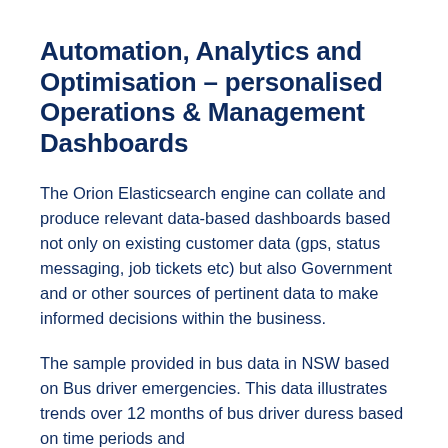Automation, Analytics and Optimisation – personalised Operations & Management Dashboards
The Orion Elasticsearch engine can collate and produce relevant data-based dashboards based not only on existing customer data (gps, status messaging, job tickets etc) but also Government and or other sources of pertinent data to make informed decisions within the business.
The sample provided in bus data in NSW based on Bus driver emergencies. This data illustrates trends over 12 months of bus driver duress based on time periods and